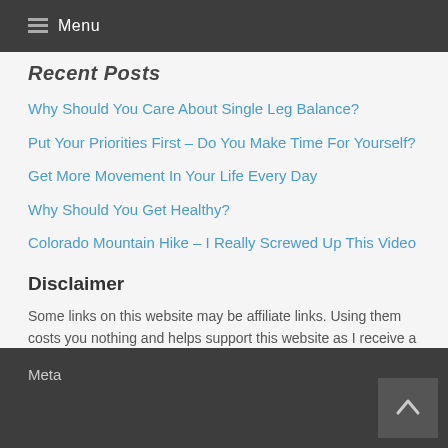Menu
Recent Posts
Why Should You Care About Single Leg Balance?
Put Your Priorities First – Do You Make Time For Yourself?
Get More Movement In Your Life Every Day
Why Should You Get Healthy?
Colorado Mountain Hike – I Really Screwed Up This Video
Disclaimer
Some links on this website may be affiliate links. Using them costs you nothing and helps support this website as I receive a small commission. Thank you for supporting my website!
Meta